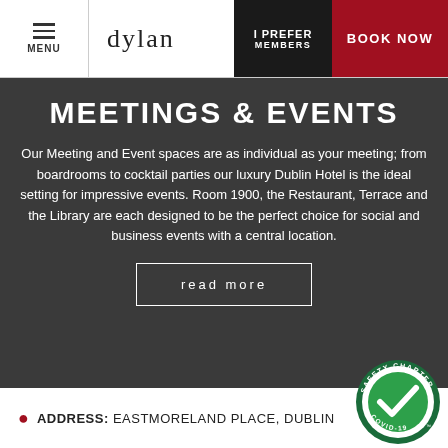MENU | dylan | I PREFER MEMBERS | BOOK NOW
MEETINGS & EVENTS
Our Meeting and Event spaces are as individual as your meeting; from boardrooms to cocktail parties our luxury Dublin Hotel is the ideal setting for impressive events. Room 1900, the Restaurant, Terrace and the Library are each designed to be the perfect choice for social and business events with a central location.
read more
ADDRESS: EASTMORELAND PLACE, DUBLIN
[Figure (logo): Safety Charter COVID-19 circular badge with green checkmark]